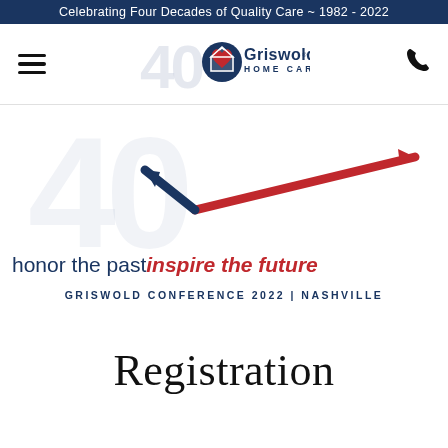Celebrating Four Decades of Quality Care ~ 1982 - 2022
[Figure (logo): Griswold Home Care 40th anniversary logo with hamburger menu and phone icon navigation bar]
[Figure (illustration): 40th anniversary hero graphic with clock arrow motif, '40' watermark, tagline 'honor the past inspire the future', and 'GRISWOLD CONFERENCE 2022 | NASHVILLE' subtitle]
Registration